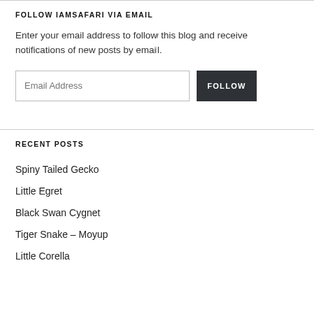FOLLOW IAMSAFARI VIA EMAIL
Enter your email address to follow this blog and receive notifications of new posts by email.
RECENT POSTS
Spiny Tailed Gecko
Little Egret
Black Swan Cygnet
Tiger Snake – Moyup
Little Corella